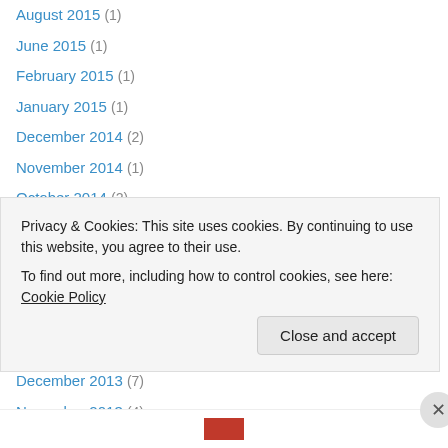August 2015 (1)
June 2015 (1)
February 2015 (1)
January 2015 (1)
December 2014 (2)
November 2014 (1)
October 2014 (2)
June 2014 (1)
May 2014 (2)
April 2014 (2)
February 2014 (1)
January 2014 (3)
December 2013 (7)
November 2013 (4)
Privacy & Cookies: This site uses cookies. By continuing to use this website, you agree to their use. To find out more, including how to control cookies, see here: Cookie Policy
Close and accept